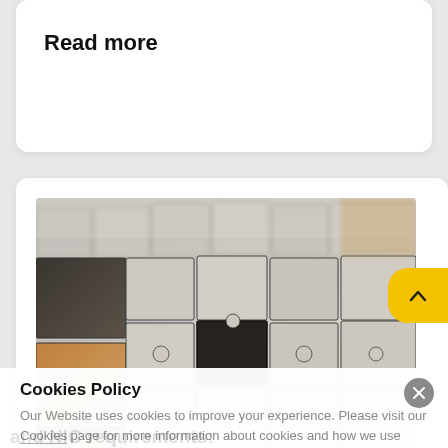Read more
[Figure (photo): Close-up photograph of interlocking grey/brown jigsaw puzzle pieces with one dark piece being placed, shot at a slight angle with shallow depth of field]
Cookies Policy
Our Website uses cookies to improve your experience. Please visit our Cookies page for more information about cookies and how we use them.
and NIC requirements: